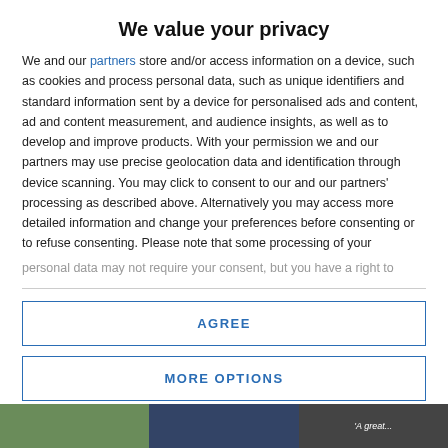We value your privacy
We and our partners store and/or access information on a device, such as cookies and process personal data, such as unique identifiers and standard information sent by a device for personalised ads and content, ad and content measurement, and audience insights, as well as to develop and improve products. With your permission we and our partners may use precise geolocation data and identification through device scanning. You may click to consent to our and our partners' processing as described above. Alternatively you may access more detailed information and change your preferences before consenting or to refuse consenting. Please note that some processing of your personal data may not require your consent, but you have a right to
AGREE
MORE OPTIONS
[Figure (screenshot): Bottom strip showing partial website images including a green nature photo, a dark blue image, and text 'A great...' on dark background]